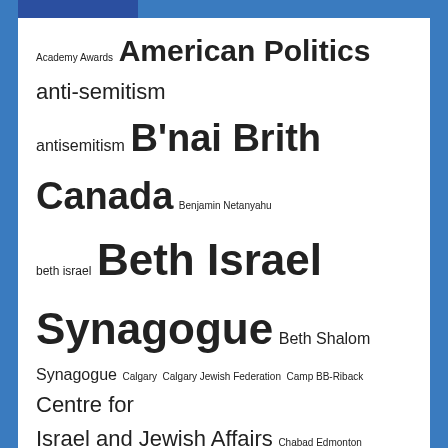[Figure (infographic): Tag cloud / word cloud showing topics related to Jewish community in Edmonton. Terms sized by frequency/importance. Topics include: Academy Awards, American Politics, anti-semitism, antisemitism, B'nai Brith Canada, Benjamin Netanyahu, beth israel, Beth Israel Synagogue, Beth Shalom Synagogue, Calgary, Calgary Jewish Federation, Camp BB-Riback, Centre for Israel and Jewish Affairs, Chabad Edmonton, Chanukah, CIJA, COVID-19, Digital Edition, Edmonton, Edmonton Jewish Film Festival, Edmonton Talmud Torah School, Hanukkah, Holocaust, Iran nuclear accord, israel, Israel politics, Jewish Federation of Edmonton, Jewish National Fund Edmonton, JNF Edmonton, Kosher, Kosher Recipe, Kosher Recipes, Middle East]